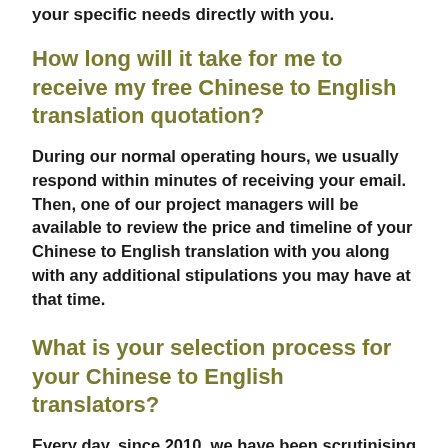your specific needs directly with you.
How long will it take for me to receive my free Chinese to English translation quotation?
During our normal operating hours, we usually respond within minutes of receiving your email. Then, one of our project managers will be available to review the price and timeline of your Chinese to English translation with you along with any additional stipulations you may have at that time.
What is your selection process for your Chinese to English translators?
Every day, since 2010, we have been scrutinising and qualifying translators and be assured that we will keep